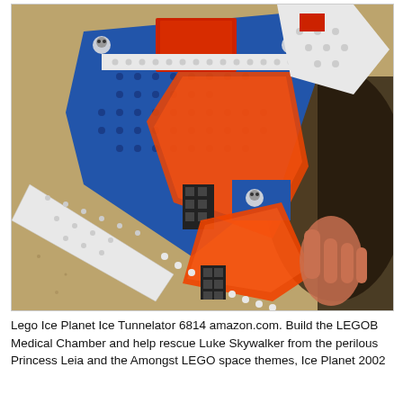[Figure (photo): A LEGO Ice Planet spacecraft/vehicle (set 6814) with blue and orange/red pieces, photographed outdoors on sandy ground. The model is tilted at an angle, showing wing-like structures with white and blue LEGO bricks and large transparent orange-red panels. A hand is partially visible holding the model on the right side. A dark shadow is cast on the sand behind the model.]
Lego Ice Planet Ice Tunnelator 6814 amazon.com. Build the LEGOB Medical Chamber and help rescue Luke Skywalker from the perilous Princess Leia and the Amongst LEGO space themes, Ice Planet 2002